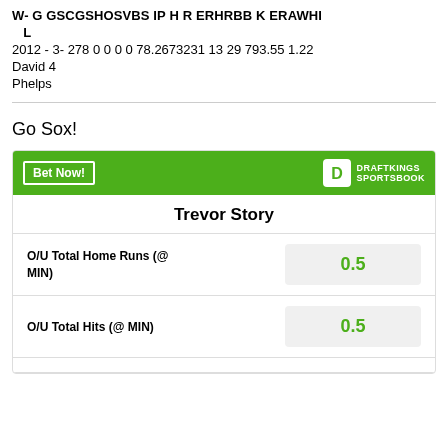| W-G | GS | CG | SHO | SV | BS | IP | H | R | ER | HR | BB | K | ERA | WHI | L |
| --- | --- | --- | --- | --- | --- | --- | --- | --- | --- | --- | --- | --- | --- | --- | --- |
| 2012 | -3- | 278 | 0 | 0 | 0 | 0 | 78.2 | 67 | 32 | 31 | 13 | 29 | 79 | 3.55 | 1.22 |
| David | 4 |  |  |  |  |  |  |  |  |  |  |  |  |  |  |
| Phelps |  |  |  |  |  |  |  |  |  |  |  |  |  |  |  |
Go Sox!
[Figure (infographic): DraftKings Sportsbook betting widget for Trevor Story showing O/U Total Home Runs (@ MIN) at 0.5 and O/U Total Hits (@ MIN) at 0.5]